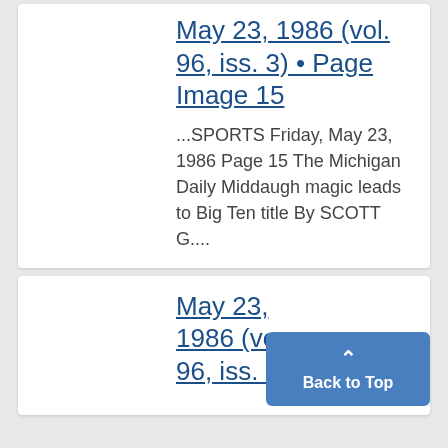May 23, 1986 (vol. 96, iss. 3) • Page Image 15
...SPORTS Friday, May 23, 1986 Page 15 The Michigan Daily Middaugh magic leads to Big Ten title By SCOTT G....
May 23, 1986 (vo... 96, iss. 3/...